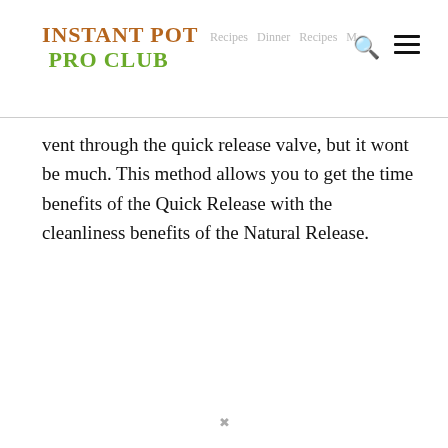INSTANT POT PRO CLUB
vent through the quick release valve, but it wont be much. This method allows you to get the time benefits of the Quick Release with the cleanliness benefits of the Natural Release.